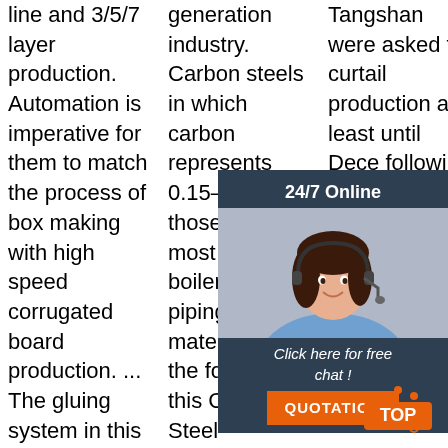line and 3/5/7 layer production. Automation is imperative for them to match the process of box making with high speed corrugated board production. ... The gluing system in this machine is a combination of
generation industry. Carbon steels in which carbon represents 0.15–0.35%—those used most often as boiler and piping materials—are the focus of this Carbon Steel Handbook. Although
Tangshan were asked to curtail production at least until December following orange pollution Friday, China demands measures continues to struggle from both the construction industry and
[Figure (other): Chat widget overlay showing '24/7 Online' header, photo of a woman with headset, 'Click here for free chat!' text, and orange QUOTATION button]
[Figure (other): Orange TOP button with arrow graphic at bottom right of page]